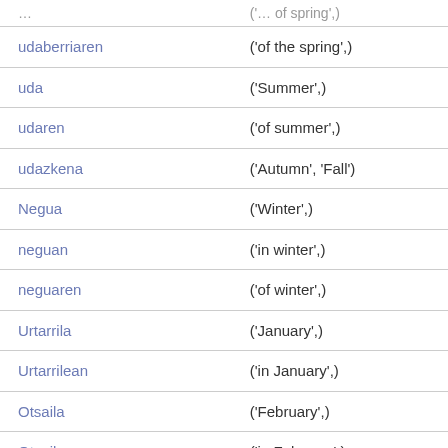| (…of spring',) |  |
| udaberriaren | ('of the spring',) |
| uda | ('Summer',) |
| udaren | ('of summer',) |
| udazkena | ('Autumn', 'Fall') |
| Negua | ('Winter',) |
| neguan | ('in winter',) |
| neguaren | ('of winter',) |
| Urtarrila | ('January',) |
| Urtarrilean | ('in January',) |
| Otsaila | ('February',) |
| Otsailean | ('in February',) |